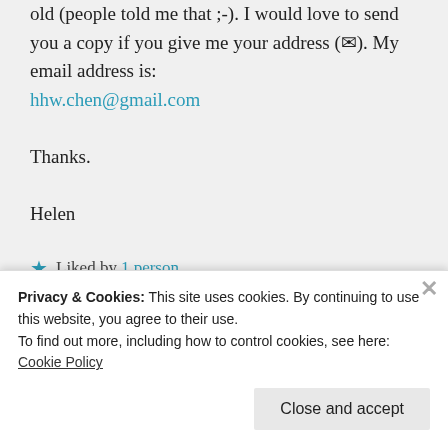old (people told me that ;-). I would love to send you a copy if you give me your address (✉). My email address is:
hhw.chen@gmail.com
Thanks.
Helen
★ Liked by 1 person
↪ Reply
Lady Oscar on May 7, 2016 at 2:28 pm
Privacy & Cookies: This site uses cookies. By continuing to use this website, you agree to their use.
To find out more, including how to control cookies, see here: Cookie Policy